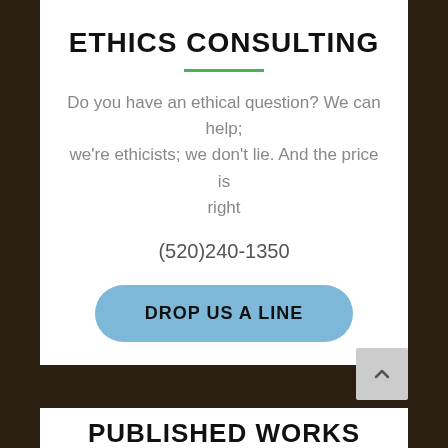ETHICS CONSULTING
Do you have an ethical question? We can help; we're ethicists; we don't lie. And the price is right
(520)240-1350
DROP US A LINE
PUBLISHED WORKS